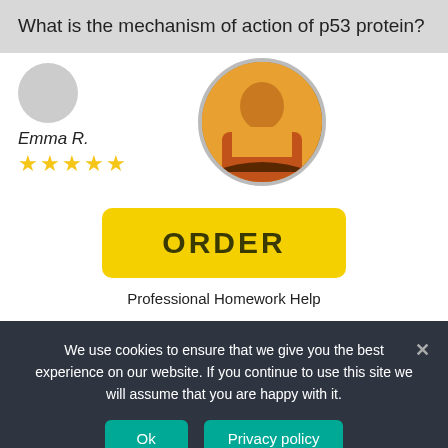What is the mechanism of action of p53 protein?
[Figure (photo): Profile photo of Emma R. with 5-star rating and a circular photo of a woman in an orange top]
Emma R.
★★★★★
ORDER
Professional Homework Help
We use cookies to ensure that we give you the best experience on our website. If you continue to use this site we will assume that you are happy with it.
Ok
Privacy policy